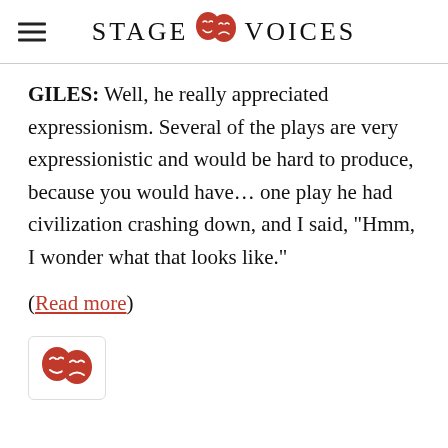STAGE VOICES
GILES: Well, he really appreciated expressionism. Several of the plays are very expressionistic and would be hard to produce, because you would have… one play he had civilization crashing down, and I said, “Hmm, I wonder what that looks like.”
(Read more)
[Figure (logo): Red theatre masks emoji logo in a rounded box]
Share this: